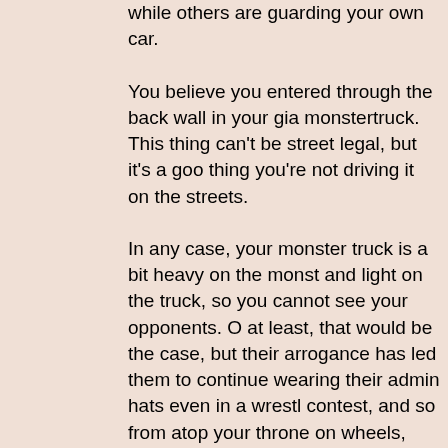while others are guarding your own car.

You believe you entered through the back wall in your giant monstertruck. This thing can't be street legal, but it's a good thing you're not driving it on the streets.

In any case, your monster truck is a bit heavy on the monster and light on the truck, so you cannot see your opponents. Or at least, that would be the case, but their arrogance has led them to continue wearing their admin hats even in a wrestling contest, and so from atop your throne on wheels, you see top hats over the hood. You can't even say that you approve of their sense of fashion, as they've encrusted large jewels at the fronts, making the whole attire incredibly tacky with that single addition.
Suggestion 2016/03/03(Thu)18:29 No. 707132 ID: 02422f

>>707131
Lay on the horn.

Then, while they're cringing from the sound, and blinded by the headlights, take to the air for flying tackles from above.
Suggestion 2016/03/03(Thu)18:34 No. 707133 ID: c3abbf